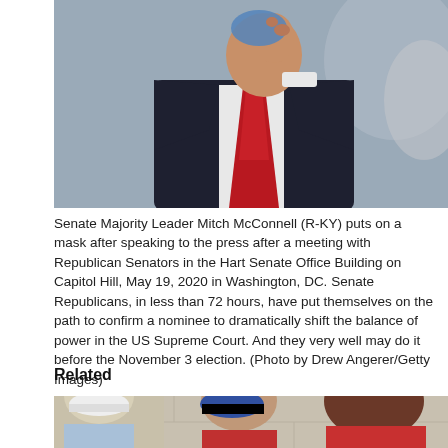[Figure (photo): Senate Majority Leader Mitch McConnell putting on a mask, wearing a dark suit and red tie, photographed at the Hart Senate Office Building on Capitol Hill.]
Senate Majority Leader Mitch McConnell (R-KY) puts on a mask after speaking to the press after a meeting with Republican Senators in the Hart Senate Office Building on Capitol Hill, May 19, 2020 in Washington, DC. Senate Republicans, in less than 72 hours, have put themselves on the path to confirm a nominee to dramatically shift the balance of power in the US Supreme Court. And they very well may do it before the November 3 election. (Photo by Drew Angerer/Getty Images)
Related
[Figure (photo): Three men in conversation outdoors: one in a white cap and blue checkered shirt on the left, one in a blue baseball cap and red shirt in the middle, and one in a red polo shirt on the right, with a cinder block wall in the background.]